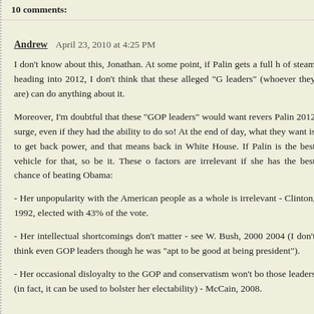10 comments:
Andrew  April 23, 2010 at 4:25 PM
I don't know about this, Jonathan. At some point, if Palin gets a full h of steam heading into 2012, I don't think that these alleged "G leaders" (whoever they are) can do anything about it.
Moreover, I'm doubtful that these "GOP leaders" would want revers Palin 2012 surge, even if they had the ability to do so! At the end of day, what they want is to get back power, and that means back in White House. If Palin is the best vehicle for that, so be it. These o factors are irrelevant if she has the best chance of beating Obama:
- Her unpopularity with the American people as a whole is irrelevant - Clinton, 1992, elected with 43% of the vote.
- Her intellectual shortcomings don't matter - see W. Bush, 2000 2004 (I don't think even GOP leaders though he was "apt to be good at being president").
- Her occasional disloyalty to the GOP and conservatism won't bo those leaders (in fact, it can be used to bolster her electability) - McCain, 2008.